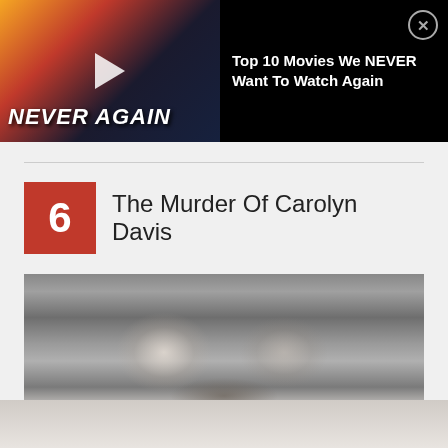[Figure (screenshot): Advertisement banner: thumbnail image with woman and Batman vs Superman movie scene with text NEVER AGAIN, beside text 'Top 10 Movies We NEVER Want To Watch Again' on black background with close button]
6 The Murder Of Carolyn Davis
[Figure (photo): Grayscale close-up photograph of a person's eyes and nose, blurry and out of focus]